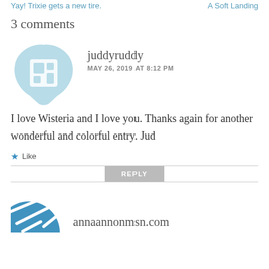Yay! Trixie gets a new tire.    A Soft Landing
3 comments
[Figure (illustration): Light blue default WordPress/blog avatar icon showing a building/grid symbol inside a chat-bubble shaped blob]
juddyruddy
MAY 26, 2019 AT 8:12 PM
I love Wisteria and I love you. Thanks again for another wonderful and colorful entry. Jud
Like
REPLY
[Figure (illustration): Partial blue decorative icon at bottom left, beginning of annaannonmsn.com commenter avatar]
annaannonmsn.com